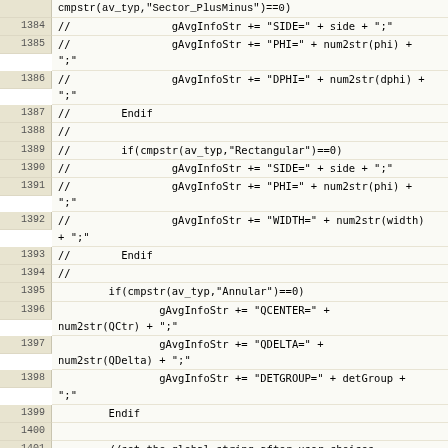Code listing lines 1384-1407, Igor Pro source code for VSANS data reduction package
[Figure (screenshot): Source code listing showing Igor Pro code with line numbers 1384-1407, including commented-out code for Sector_PlusMinus and Rectangular averaging types, and active code for Annular averaging type setting gAvgInfoStr with QCENTER, QDELTA, DETGROUP, then setting a global string and returning 0.]